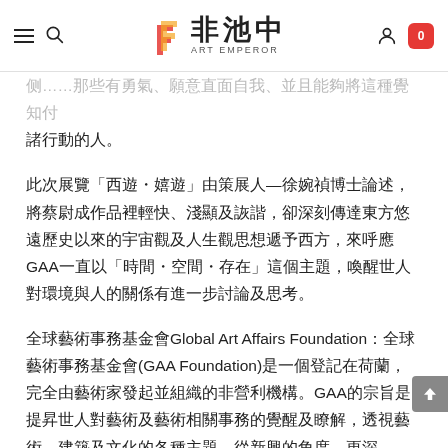非池中 ART EMPEROR
諸行動的人。
此次展覽「西遊・嬉遊」由策展人—徐婉禎博士論述，將蔡尉成作品裡輕快、淺顯及詼諧，卻深刻傳達東方悠遠歷史以來的宇宙觀及人生觀思想遞予西方，來呼應GAA一直以「時間・空間・存在」這個主題，喚醒世人對環境與人的關係有進一步討論及思考。
全球藝術事務基金會Global Art Affairs Foundation：全球藝術事務基金會(GAA Foundation)是一個登記在荷蘭，完全由藝術家發起並組織的非營利機構。GAA的宗旨是提昇世人對藝術及藝術相關事務的覺醒及瞭解，透過藝術、建築及文化的各種主題，從新興的角度，更深入地...